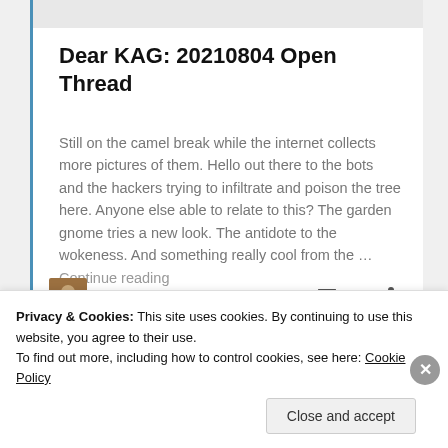[Figure (screenshot): Partial website banner/logo strip at top of page]
Dear KAG: 20210804 Open Thread
Still on the camel break while the internet collects more pictures of them. Hello out there to the bots and the hackers trying to infiltrate and poison the tree here. Anyone else able to relate to this? The garden gnome tries a new look. The antidote to the wokeness. And something really cool from the … Continue reading
The Q Tree   770
Privacy & Cookies: This site uses cookies. By continuing to use this website, you agree to their use. To find out more, including how to control cookies, see here: Cookie Policy
Close and accept